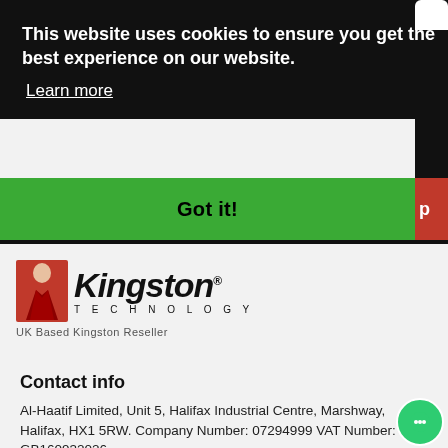This website uses cookies to ensure you get the best experience on our website.
Learn more
Got it!
[Figure (logo): Kingston Technology logo with red figure icon and text 'KINGSTON TECHNOLOGY' and subtitle 'UK Based Kingston Reseller']
Contact info
Al-Haatif Limited, Unit 5, Halifax Industrial Centre, Marshway, Halifax, HX1 5RW. Company Number: 07294999 VAT Number: GB160932026